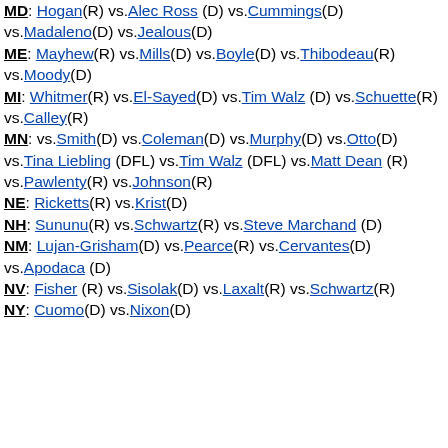MD: Hogan(R) vs.Alec Ross (D) vs.Cummings(D) vs.Madaleno(D) vs.Jealous(D) ME: Mayhew(R) vs.Mills(D) vs.Boyle(D) vs.Thibodeau(R) vs.Moody(D) MI: Whitmer(R) vs.El-Sayed(D) vs.Tim Walz (D) vs.Schuette(R) vs.Calley(R) MN: vs.Smith(D) vs.Coleman(D) vs.Murphy(D) vs.Otto(D) vs.Tina Liebling (DFL) vs.Tim Walz (DFL) vs.Matt Dean (R) vs.Pawlenty(R) vs.Johnson(R) NE: Ricketts(R) vs.Krist(D) NH: Sununu(R) vs.Schwartz(R) vs.Steve Marchand (D) NM: Lujan-Grisham(D) vs.Pearce(R) vs.Cervantes(D) vs.Apodaca (D) NV: Fisher (R) vs.Sisolak(D) vs.Laxalt(R) vs.Schwartz(R) NY: Cuomo(D) vs.Nixon(D) vs.Hawkins(R)